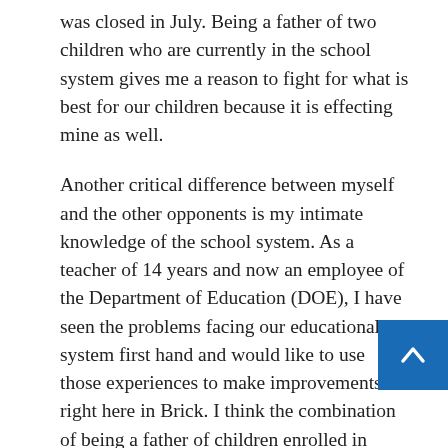was closed in July. Being a father of two children who are currently in the school system gives me a reason to fight for what is best for our children because it is effecting mine as well.
Another critical difference between myself and the other opponents is my intimate knowledge of the school system. As a teacher of 14 years and now an employee of the Department of Education (DOE), I have seen the problems facing our educational system first hand and would like to use those experiences to make improvements right here in Brick. I think the combination of being a father of children enrolled in Brick schools plus the unique experience I bring as a teacher and DOE employee are critical differences that will enable me to make significant positive changes to our community serving on the Board of Education.